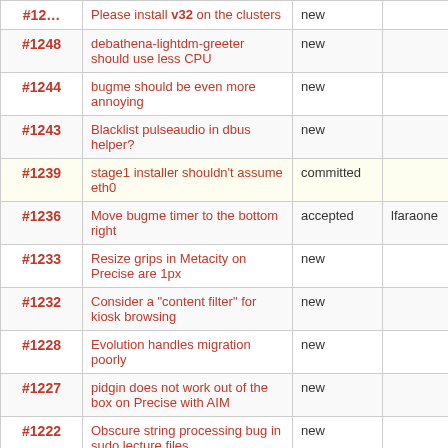| ID | Description | Status | Owner | Type |
| --- | --- | --- | --- | --- |
| #1248 | debathena-lightdm-greeter should use less CPU | new |  | defec… |
| #1244 | bugme should be even more annoying | new |  | defec… |
| #1243 | Blacklist pulseaudio in dbus helper? | new |  | defec… |
| #1239 | stage1 installer shouldn't assume eth0 | committed |  | defec… |
| #1236 | Move bugme timer to the bottom right | accepted | lfaraone | enhan… |
| #1233 | Resize grips in Metacity on Precise are 1px | new |  | defec… |
| #1232 | Consider a "content filter" for kiosk browsing | new |  | enhan… |
| #1228 | Evolution handles migration poorly | new |  | defec… |
| #1227 | pidgin does not work out of the box on Precise with AIM | new |  | defec… |
| #1222 | Obscure string processing bug in sudo lecture files | new |  | defec… |
| #1212 | Linerva (and other dialups) should run identd | new |  | defec… |